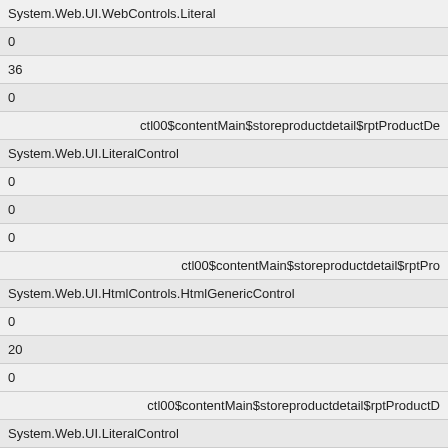System.Web.UI.WebControls.Literal
0
36
0
ctl00$contentMain$storeproductdetail$rptProductDe
System.Web.UI.LiteralControl
0
0
0
ctl00$contentMain$storeproductdetail$rptPro
System.Web.UI.HtmlControls.HtmlGenericControl
0
20
0
ctl00$contentMain$storeproductdetail$rptProductD
System.Web.UI.LiteralControl